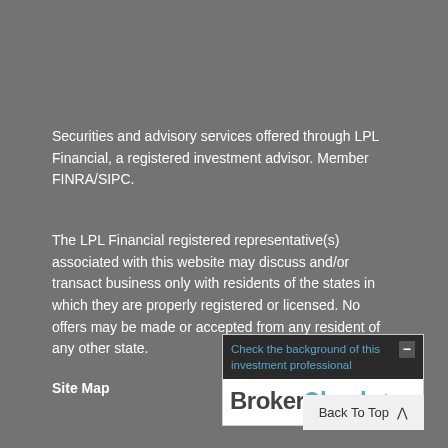Securities and advisory services offered through LPL Financial, a registered investment advisor. Member FINRA/SIPC.
The LPL Financial registered representative(s) associated with this website may discuss and/or transact business only with residents of the states in which they are properly registered or licensed. No offers may be made or accepted from any resident of any other state.
Site Map
[Figure (logo): BrokerCheck by FINRA widget with header text 'Check the background of this investment professional' and BrokerCheck logo]
Back To Top